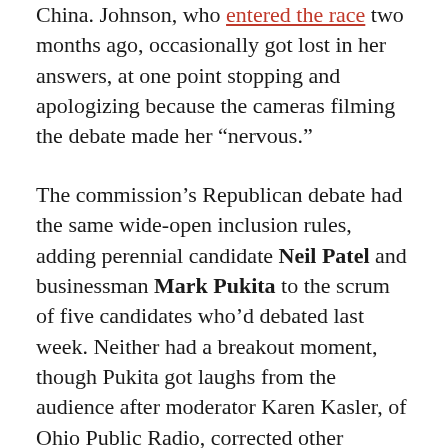China. Johnson, who entered the race two months ago, occasionally got lost in her answers, at one point stopping and apologizing because the cameras filming the debate made her “nervous.”
The commission’s Republican debate had the same wide-open inclusion rules, adding perennial candidate Neil Patel and businessman Mark Pukita to the scrum of five candidates who’d debated last week. Neither had a breakout moment, though Pukita got laughs from the audience after moderator Karen Kasler, of Ohio Public Radio, corrected other candidates after they claimed the 2020 election had been stolen from Donald Trump.
“Can we just stipulate that what I’m going to say, it’s not going to be fact-checked by you?” Pukita asked Kasler, adding that he had gone on Rumble days after the election to say that it was stolen. “I’d be the A-M...